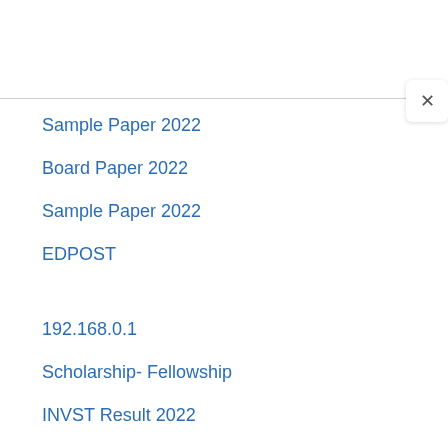Sample Paper 2022
Board Paper 2022
Sample Paper 2022
EDPOST
192.168.0.1
Scholarship- Fellowship
INVST Result 2022